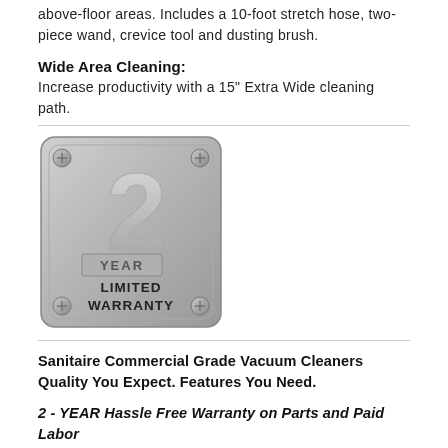above-floor areas. Includes a 10-foot stretch hose, two-piece wand, crevice tool and dusting brush.
Wide Area Cleaning:
Increase productivity with a 15" Extra Wide cleaning path.
[Figure (illustration): A 2 Year Limited Warranty badge/seal rendered as a metallic silver square with screws at corners, large numeral '2', text 'YEAR' in a raised box, and 'LIMITED WARRANTY' in bold at the bottom.]
Sanitaire Commercial Grade Vacuum Cleaners Quality You Expect. Features You Need.
2 - YEAR Hassle Free Warranty on Parts and Paid Labor